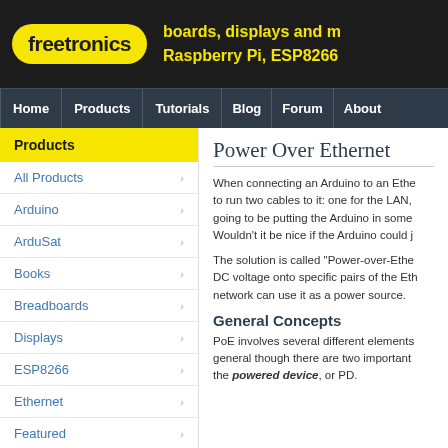freetronics — boards, displays and m... Raspberry Pi, ESP8266
Home | Products | Tutorials | Blog | Forum | About
Products
All Products
Arduino
ArduSat
Books
Breadboards
Displays
ESP8266
Ethernet
Featured
I/O Breakout
Power Over Ethernet
When connecting an Arduino to an Ethe... to run two cables to it: one for the LAN, ... going to be putting the Arduino in some ... Wouldn't it be nice if the Arduino could j...
The solution is called "Power-over-Ethe... DC voltage onto specific pairs of the Eth... network can use it as a power source.
General Concepts
PoE involves several different elements... general though there are two important ... the powered device, or PD.